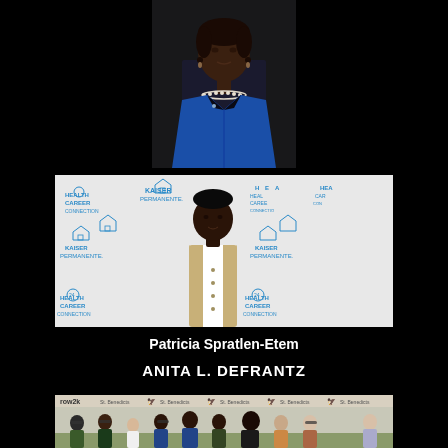[Figure (photo): Portrait photo of an elderly African American woman wearing a royal blue blazer and pearl necklace against a dark background]
[Figure (photo): Woman in beige blazer standing in front of a Health Career Connection and Kaiser Permanente branded step-and-repeat backdrop]
Patricia Spratlen-Etem
ANITA L. DEFRANTZ
[Figure (photo): Group photo of approximately 10 people standing in front of a row2k and St. Benedicts branded backdrop at what appears to be a rowing event]